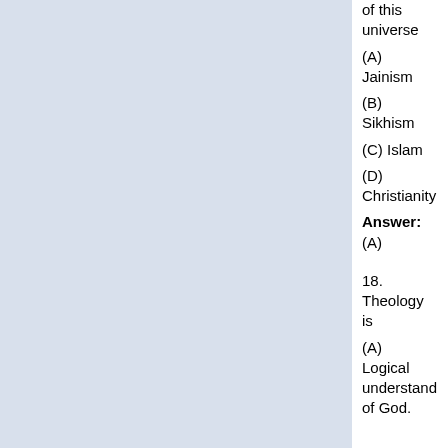of this universe
(A) Jainism
(B) Sikhism
(C) Islam
(D) Christianity
Answer: (A)
18. Theology is
(A) Logical understanding of God.